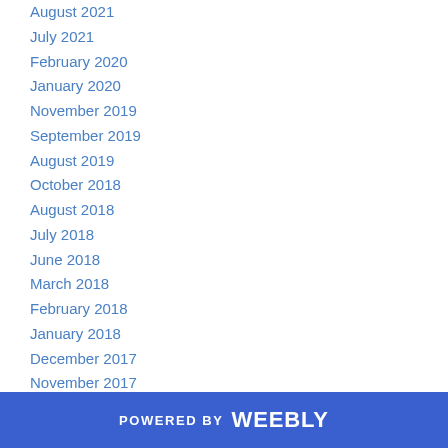August 2021
July 2021
February 2020
January 2020
November 2019
September 2019
August 2019
October 2018
August 2018
July 2018
June 2018
March 2018
February 2018
January 2018
December 2017
November 2017
September 2017
February 2016
January 2016
November 2015
POWERED BY weebly